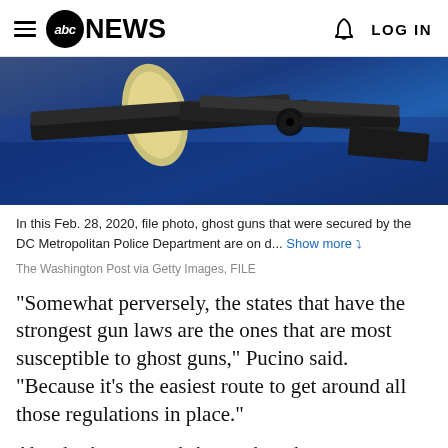abc NEWS  LOG IN
[Figure (photo): Ghost guns secured by the DC Metropolitan Police Department displayed on a blue surface]
In this Feb. 28, 2020, file photo, ghost guns that were secured by the DC Metropolitan Police Department are on d... Show more
The Washington Post via Getty Images, FILE
"Somewhat perversely, the states that have the strongest gun laws are the ones that are most susceptible to ghost guns," Pucino said. "Because it's the easiest route to get around all those regulations in place."
Already, the proposed changes have been met